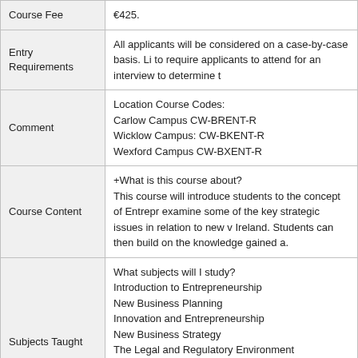| Field | Value |
| --- | --- |
| Course Fee | €425. |
| Entry Requirements | All applicants will be considered on a case-by-case basis. Li... to require applicants to attend for an interview to determine t... |
| Comment | Location Course Codes:
Carlow Campus CW-BRENT-R
Wicklow Campus: CW-BKENT-R
Wexford Campus CW-BXENT-R |
| Course Content | +What is this course about?
This course will introduce students to the concept of Entrepr... examine some of the key strategic issues in relation to new v... Ireland. Students can then build on the knowledge gained a... |
| Subjects Taught | What subjects will I study?
Introduction to Entrepreneurship
New Business Planning
Innovation and Entrepreneurship
New Business Strategy
The Legal and Regulatory Environment
Entrepreneurship in Different Contexts
Finance For New Ventures
Planning for Growth
Reviewing the Business Plan |
| Number of Credits | 10 |
|  | Carlow Campus
Kilkenny Road
Carlow |